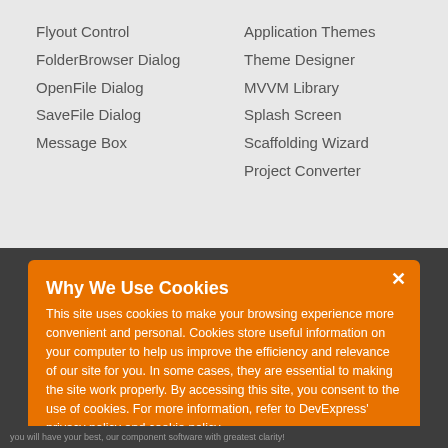Flyout Control
FolderBrowser Dialog
OpenFile Dialog
SaveFile Dialog
Message Box
Application Themes
Theme Designer
MVVM Library
Splash Screen
Scaffolding Wizard
Project Converter
Why We Use Cookies
This site uses cookies to make your browsing experience more convenient and personal. Cookies store useful information on your computer to help us improve the efficiency and relevance of our site for you. In some cases, they are essential to making the site work properly. By accessing this site, you consent to the use of cookies. For more information, refer to DevExpress' privacy policy and cookie policy.
you will have your best, our component software with greatest clarity!